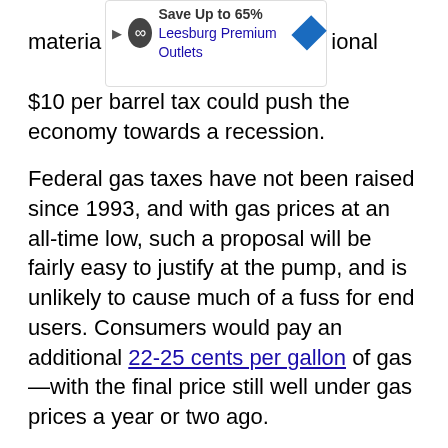materia... [truncated] ...ly. However, ...ional $10 per barrel tax could push the economy towards a recession.
Federal gas taxes have not been raised since 1993, and with gas prices at an all-time low, such a proposal will be fairly easy to justify at the pump, and is unlikely to cause much of a fuss for end users. Consumers would pay an additional 22-25 cents per gallon of gas—with the final price still well under gas prices a year or two ago.
Related: No Agreement on OPEC Meeting After Venezuela Meets With Saudi Arabia
According to the American Coalition for clean coal electricity report of June 2015, the lower and middle-income families, which represent 48 percent of the nation's households, spend an estimated average of 17 percent of their after-tax income on residential and transportation